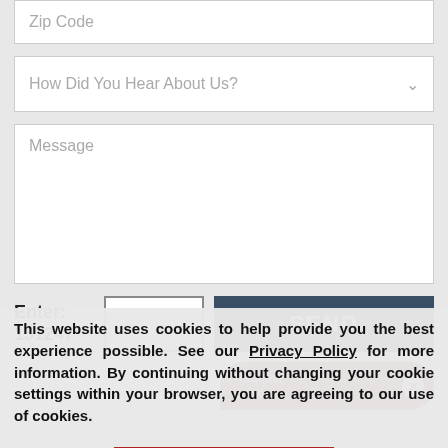Zip Code
How Did You Hear About Us?
Message
Enter: 151247
SEND
Request a Free
This website uses cookies to help provide you the best experience possible. See our Privacy Policy for more information. By continuing without changing your cookie settings within your browser, you are agreeing to our use of cookies.
ACCEPT